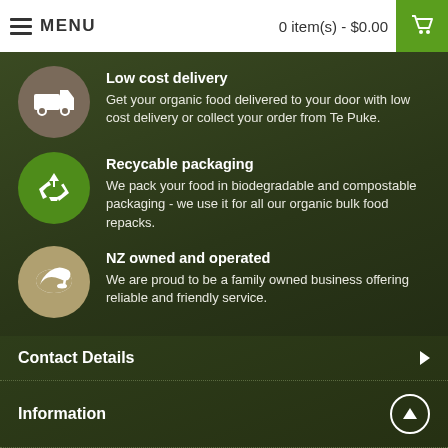MENU   0 item(s) - $0.00
Low cost delivery
Get your organic food delivered to your door with low cost delivery or collect your order from Te Puke.
Recycable packaging
We pack your food in biodegradable and compostable packaging  - we use it for all our organic bulk food repacks.
NZ owned and operated
We are proud to be a family owned business offering reliable and friendly service.
Contact Details
Information
Customer Support